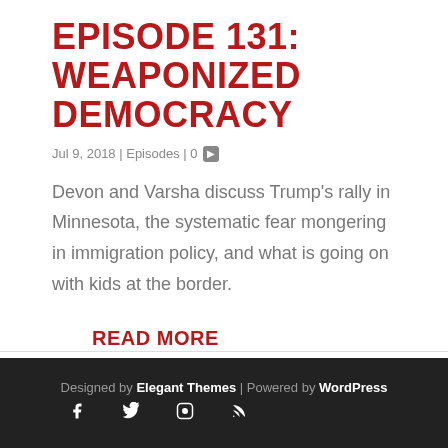EPISODE 131: WEAPONIZED DEMOCRACY
Jul 9, 2018 | Episodes | 0
Devon and Varsha discuss Trump's rally in Minnesota, the systematic fear mongering in immigration policy, and what is going on with kids at the border.
READ MORE
Designed by Elegant Themes | Powered by WordPress